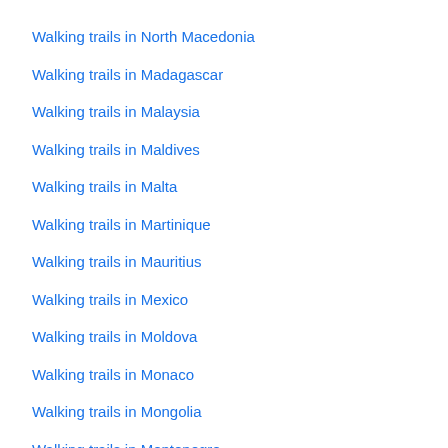Walking trails in North Macedonia
Walking trails in Madagascar
Walking trails in Malaysia
Walking trails in Maldives
Walking trails in Malta
Walking trails in Martinique
Walking trails in Mauritius
Walking trails in Mexico
Walking trails in Moldova
Walking trails in Monaco
Walking trails in Mongolia
Walking trails in Montenegro
Walking trails in Morocco